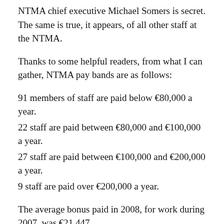NTMA chief executive Michael Somers is secret. The same is true, it appears, of all other staff at the NTMA.
Thanks to some helpful readers, from what I can gather, NTMA pay bands are as follows:
91 members of staff are paid below €80,000 a year.
22 staff are paid between €80,000 and €100,000 a year.
27 staff are paid between €100,000 and €200,000 a year.
9 staff are paid over €200,000 a year.
The average bonus paid in 2008, for work during 2007, was €21,447.